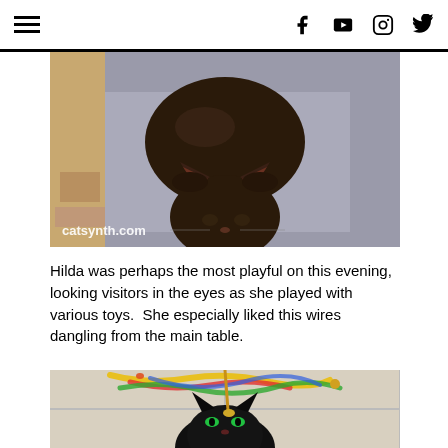Navigation menu and social icons (Facebook, YouTube, Instagram, Twitter)
[Figure (photo): Dark brown/black cat photographed from above, looking up at the camera, standing on a gray surface. Watermark reads catsynth.com]
Hilda was perhaps the most playful on this evening, looking visitors in the eyes as she played with various toys.  She especially liked this wires dangling from the main table.
[Figure (photo): Black cat looking up at the camera on a tiled floor, with colorful rope/wire toy dangling above it.]